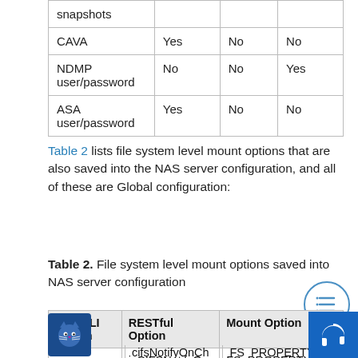|  |  |  |  |
| --- | --- | --- | --- |
| snapshots |  |  |  |
| CAVA | Yes | No | No |
| NDMP user/password | No | No | Yes |
| ASA user/password | Yes | No | No |
Table 2 lists file system level mount options that are also saved into the NAS server configuration, and all of these are Global configuration:
Table 2. File system level mount options saved into NAS server configuration
| UEMCLI Option | RESTful Option | Mount Option |
| --- | --- | --- |
| - cifsNotifyOnWrite | isCIFSNotifyOnWriteEnabled | FS_PROPERTY_NOTIFYONWRITE_SYNC |
| - cifsNotify | cifsNotifyOnChangeDirDepth | FS_PROPERTY_TRIGGERLEVEL |